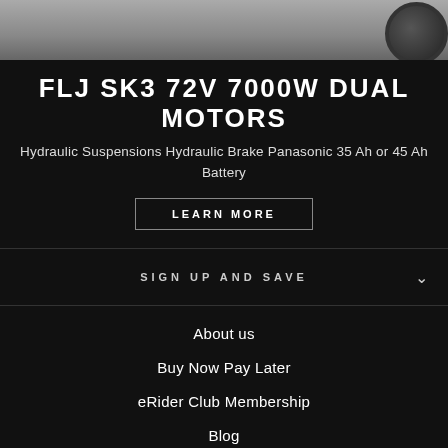[Figure (photo): Partial view of a motorized scooter wheel on a dark background]
FLJ SK3 72V 7000W DUAL MOTORS
Hydraulic Suspensions Hydraulic Brake Panasonic 35 Ah or 45 Ah Battery
LEARN MORE
SIGN UP AND SAVE
About us
Buy Now Pay Later
eRider Club Membership
Blog
Order Tracking